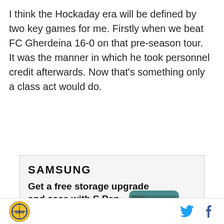I think the Hockaday era will be defined by two key games for me. Firstly when we beat FC Gherdeina 16-0 on that pre-season tour. It was the manner in which he took personnel credit afterwards. Now that's something only a class act would do.
[Figure (infographic): Samsung Galaxy Z Fold4 advertisement. Shows Samsung logo, headline 'Get a free storage upgrade and case with S Pen with pre-order', a circle arrow button, product name 'Galaxy Z Fold4', fine print 'See terms and conditions. S Pen compatible only with Galaxy Z Fold4 main display.', and an image of the teal/green Galaxy Z Fold4 phone with S Pen.]
SB Nation logo | Twitter bird icon | Facebook f icon